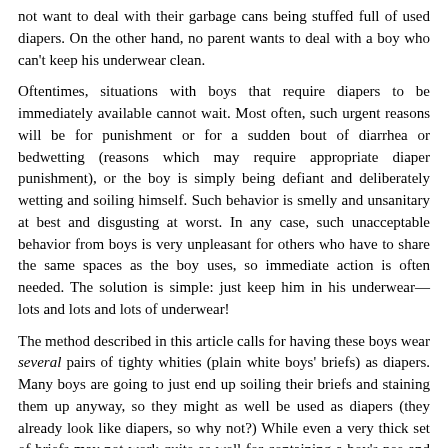not want to deal with their garbage cans being stuffed full of used diapers. On the other hand, no parent wants to deal with a boy who can't keep his underwear clean.
Oftentimes, situations with boys that require diapers to be immediately available cannot wait. Most often, such urgent reasons will be for punishment or for a sudden bout of diarrhea or bedwetting (reasons which may require appropriate diaper punishment), or the boy is simply being defiant and deliberately wetting and soiling himself. Such behavior is smelly and unsanitary at best and disgusting at worst. In any case, such unacceptable behavior from boys is very unpleasant for others who have to share the same spaces as the boy uses, so immediate action is often needed. The solution is simple: just keep him in his underwear— lots and lots and lots of underwear!
The method described in this article calls for having these boys wear several pairs of tighty whities (plain white boys' briefs) as diapers. Many boys are going to just end up soiling their briefs and staining them up anyway, so they might as well be used as diapers (they already look like diapers, so why not?) While even a very thick set of briefs may not work quite as well for containing a boy's pee and poop as well as real diapers, if enough pairs of underwear are used (with some other modifications, which are given below), they do work.
What follows is a guide for parents on how to diaper a boy with his underwear. If he already has an existing supply of plain white briefs you have a head start, but he is going to still need a lot more underwear.
The Briefs